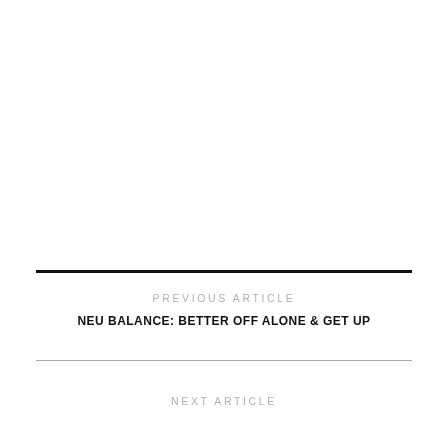PREVIOUS ARTICLE
NEU BALANCE: BETTER OFF ALONE & GET UP
NEXT ARTICLE